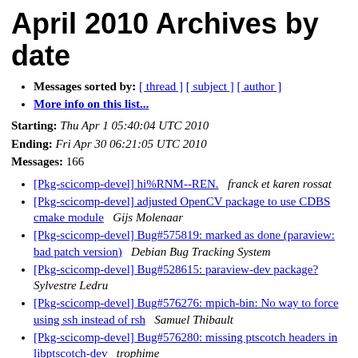April 2010 Archives by date
Messages sorted by: [ thread ] [ subject ] [ author ]
More info on this list...
Starting: Thu Apr 1 05:40:04 UTC 2010
Ending: Fri Apr 30 06:21:05 UTC 2010
Messages: 166
[Pkg-scicomp-devel] hi%RNM--REN.   franck et karen rossat
[Pkg-scicomp-devel] adjusted OpenCV package to use CDBS cmake module   Gijs Molenaar
[Pkg-scicomp-devel] Bug#575819: marked as done (paraview: bad patch version)   Debian Bug Tracking System
[Pkg-scicomp-devel] Bug#528615: paraview-dev package?   Sylvestre Ledru
[Pkg-scicomp-devel] Bug#576276: mpich-bin: No way to force using ssh instead of rsh   Samuel Thibault
[Pkg-scicomp-devel] Bug#576280: missing ptscotch headers in libptscotch-dev   trophime
[Pkg-scicomp-devel] Processing of atlas 3.8.3-18_i386.changes   Archive Administrator
[Pkg-scicomp-devel] Processing of atlas 3.8.2...